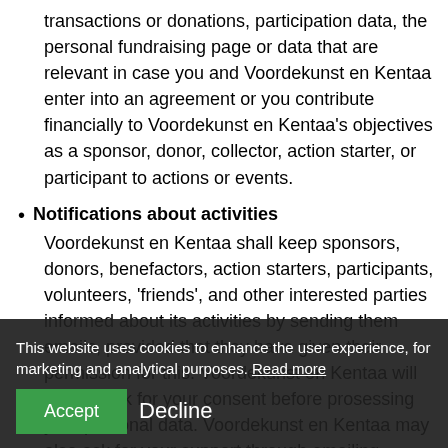transactions or donations, participation data, the personal fundraising page or data that are relevant in case you and Voordekunst en Kentaa enter into an agreement or you contribute financially to Voordekunst en Kentaa's objectives as a sponsor, donor, collector, action starter, or participant to actions or events.
Notifications about activities
Voordekunst en Kentaa shall keep sponsors, donors, benefactors, action starters, participants, volunteers, 'friends', and other interested parties informed about its activities by sending them emails, provided that they have given their permission for this. Voordekunst en Kentaa will always ask for your consent before prosessing your personal data. Voordekunst en Kentaa may also ask for your support through emailing.
Optimising the website and emails
To optimise the content of Voordekunst en Kentaa's emails, the open and click ratio of emails can be monitored and can be taken into account.
This website uses cookies to enhance the user experience, for marketing and analytical purposes. Read more